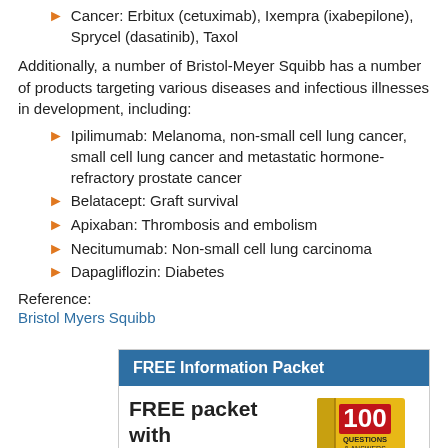Cancer: Erbitux (cetuximab), Ixempra (ixabepilone), Sprycel (dasatinib), Taxol
Additionally, a number of Bristol-Meyer Squibb has a number of products targeting various diseases and infectious illnesses in development, including:
Ipilimumab: Melanoma, non-small cell lung cancer, small cell lung cancer and metastatic hormone-refractory prostate cancer
Belatacept: Graft survival
Apixaban: Thrombosis and embolism
Necitumumab: Non-small cell lung carcinoma
Dapagliflozin: Diabetes
Reference:
Bristol Myers Squibb
[Figure (infographic): FREE Information Packet box with blue header and book image showing '100 Questions & Answers About Mesothelioma Second Edition'. Text reads 'FREE packet with the best mesothelioma']